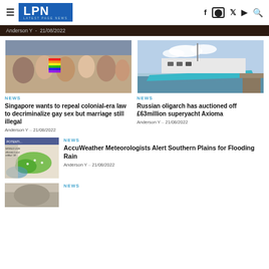LPN LATEST PAGE NEWS — f ⬜ ✦ ▶ Q
Anderson Y - 21/08/2022
[Figure (photo): Crowd of people, one holding a rainbow flag (pride event)]
NEWS
Singapore wants to repeal colonial-era law to decriminalize gay sex but marriage still illegal
Anderson Y – 21/08/2022
[Figure (photo): Large teal/blue superyacht docked at a pier]
NEWS
Russian oligarch has auctioned off £63million superyacht Axioma
Anderson Y – 21/08/2022
[Figure (map): Weather map showing Southern Plains flood risk area in green]
NEWS
AccuWeather Meteorologists Alert Southern Plains for Flooding Rain
Anderson Y – 21/08/2022
[Figure (photo): Partial image at bottom of page]
NEWS